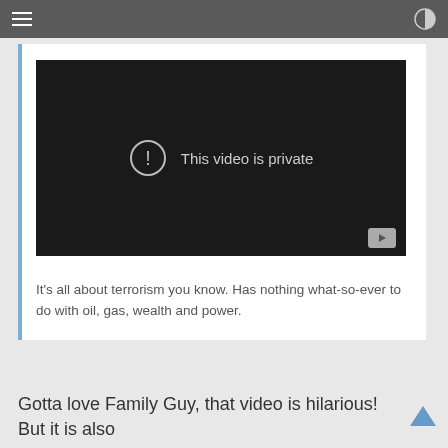[Figure (screenshot): A YouTube embedded video player showing 'This video is private' message with an exclamation mark icon on a dark background.]
It's all about terrorism you know. Has nothing what-so-ever to do with oil, gas, wealth and power.
Gotta love Family Guy, that video is hilarious! But it is also